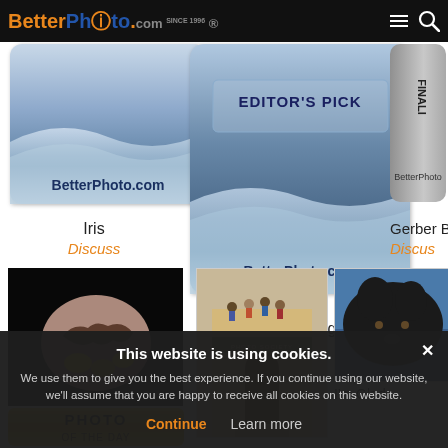BetterPhoto.com
[Figure (screenshot): BetterPhoto.com badge/ribbon image (left)]
[Figure (screenshot): BetterPhoto.com Editor's Pick badge (center)]
[Figure (screenshot): BetterPhoto.com finalist ribbon (right, partially visible)]
Iris
Discuss
Ding-Dong!
Discuss
Gerber B
Discuss
[Figure (photo): Dark photo of hatching egg with yellow chicks on black background]
[Figure (photo): Photo of people on rooftop of building with arched entrance]
[Figure (photo): Partial photo of dark animal (dog/bear) against blue background]
[Figure (screenshot): PHOTO OF THE DAY badge (yellow/gold)]
I'm Glad
This website is using cookies. We use them to give you the best experience. If you continue using our website, we'll assume that you are happy to receive all cookies on this website.
Continue
Learn more